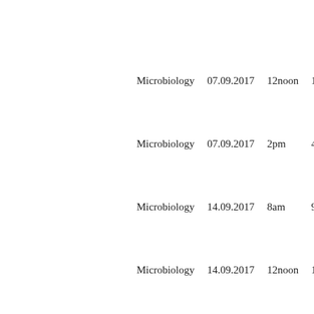| Subject | Date | Start | End |  |
| --- | --- | --- | --- | --- |
| Microbiology | 07.09.2017 | 12noon | 1pm |  |
| Microbiology | 07.09.2017 | 2pm | 4pm |  |
| Microbiology | 14.09.2017 | 8am | 9am |  |
| Microbiology | 14.09.2017 | 12noon | 1pm |  |
| Microbiology | 14.09.2017 | 2pm | 4pm |  |